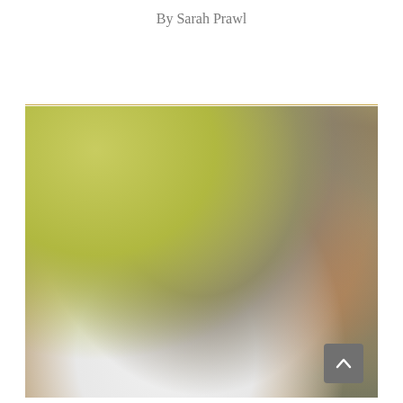By Sarah Prawl
[Figure (photo): A smiling woman wearing a black headband and white chef coat holds a foil tray containing baked goods, standing in a commercial kitchen with baking racks and shelves visible in the background.]